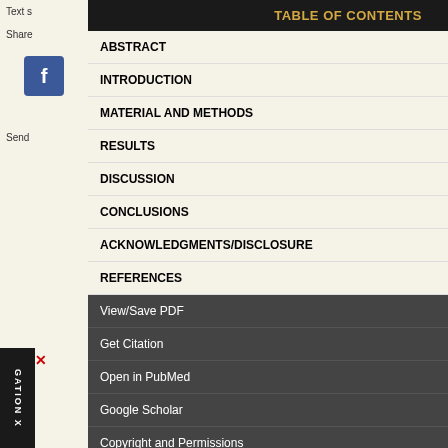Text s
Share
Send
TABLE OF CONTENTS
ABSTRACT
INTRODUCTION
MATERIAL AND METHODS
RESULTS
DISCUSSION
CONCLUSIONS
ACKNOWLEDGMENTS/DISCLOSURE
REFERENCES
View/Save PDF
Get Citation
Open in PubMed
Google Scholar
Copyright and Permissions
Back to Issue
ACKNOWLEDGMENTS
The authors report no confl
REFERENCES
1. Urken ML, Buchbinder microvascular composit [Medline: 9440780] [doi
2. Dowthwaite SA, Theure free flaps for oromandib Surg. 2013 Mar;139(3): [Medline: 23657276] [do
3. Shpitzer T, Neligan P, B Ann Plast Surg. 1997 M [Medline: 9160127] [doi
4. Brown J, Bekiroglu F, Maxillofac Surg. 2010 J [Medline: 19913337] [do
5. Chepeha DB, Khariwa Thoracodorsal artery so Arch Otolaryngol Head [Medline: 20956740] [do